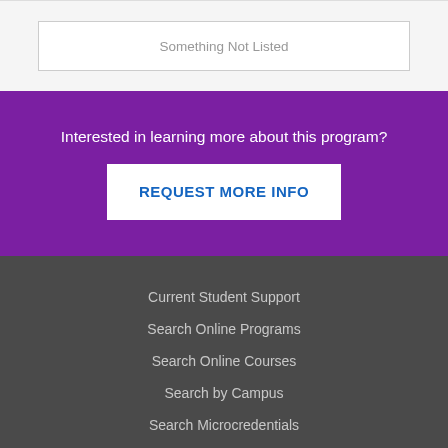Something Not Listed
Interested in learning more about this program?
REQUEST MORE INFO
Current Student Support
Search Online Programs
Search Online Courses
Search by Campus
Search Microcredentials